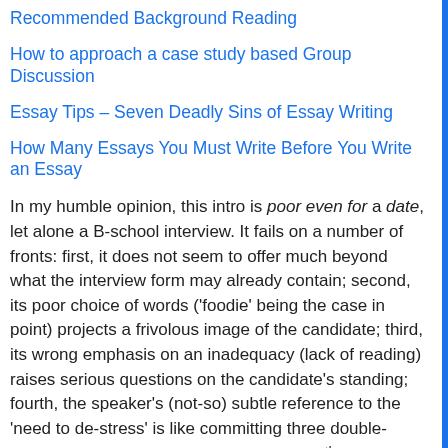Recommended Background Reading
How to approach a case study based Group Discussion
Essay Tips – Seven Deadly Sins of Essay Writing
How Many Essays You Must Write Before You Write an Essay
In my humble opinion, this intro is poor even for a date, let alone a B-school interview. It fails on a number of fronts: first, it does not seem to offer much beyond what the interview form may already contain; second, its poor choice of words ('foodie' being the case in point) projects a frivolous image of the candidate; third, its wrong emphasis on an inadequacy (lack of reading) raises serious questions on the candidate's standing; fourth, the speaker's (not-so) subtle reference to the 'need to de-stress' is like committing three double-faults in a row against Rafa Nadal in the 5th set when he is already a